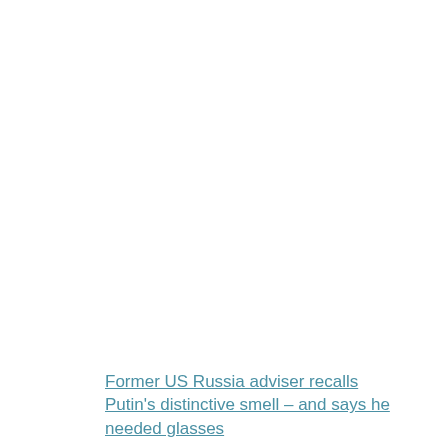Former US Russia adviser recalls Putin's distinctive smell – and says he needed glasses
[Figure (photo): A photograph showing military personnel in camouflage gear with foliage, outdoors]